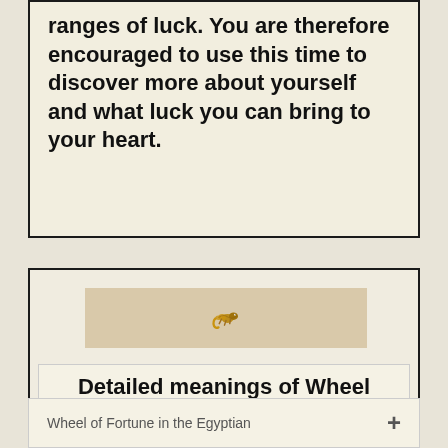ranges of luck. You are therefore encouraged to use this time to discover more about yourself and what luck you can bring to your heart.
[Figure (illustration): A decorative banner with a golden/amber colored snake or lizard figure centered on a tan/beige background strip]
Detailed meanings of Wheel of Fortune tarot card
Wheel of Fortune in the Egyptian